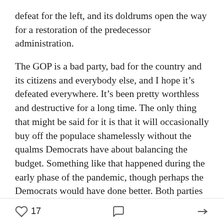defeat for the left, and its doldrums open the way for a restoration of the predecessor administration.
The GOP is a bad party, bad for the country and its citizens and everybody else, and I hope it’s defeated everywhere. It’s been pretty worthless and destructive for a long time. The only thing that might be said for it is that it will occasionally buy off the populace shamelessly without the qualms Democrats have about balancing the budget. Something like that happened during the early phase of the pandemic, though perhaps the Democrats would have done better. Both parties are imperialist warmongers and probably will be throughout our lifetimes. They both love the cops and turning Americans into debtors. But only the
17